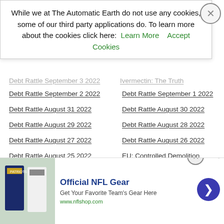Recent Posts
While we at The Automatic Earth do not use any cookies, some of our third party applications do. To learn more about the cookies click here: Learn More  Accept Cookies
Debt Rattle September 3 2022
Ivermectin: The Truth
Debt Rattle September 2 2022
Debt Rattle September 1 2022
Debt Rattle August 31 2022
Debt Rattle August 30 2022
Debt Rattle August 29 2022
Debt Rattle August 28 2022
Debt Rattle August 27 2022
Debt Rattle August 26 2022
Debt Rattle August 25 2022
EU: Controlled Demolition
Debt Rattle August 24 2022
Debt Rattle August 23 2022
Debt Rattle August 22 2022
Debt Rattle August 21 2022
Debt Rattle August 20 2022
Debt Rattle August 19 2022
Debt Rattle August 18 2022
Debt Rattle August 17 2022
Debt Rattle August 16 2022
Debt Rattle August 15 2022
[Figure (screenshot): Advertisement for Official NFL Gear from nflshop.com with image of NFL jerseys, close button, and navigation arrow]